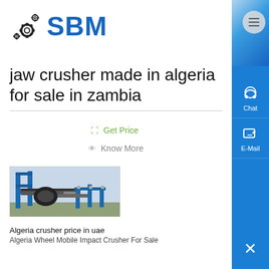[Figure (logo): SBM logo with gear/cog icon in black and blue letters]
jaw crusher made in algeria for sale in zambia
Get Price
Know More
[Figure (photo): Photo of a blue jaw crusher machine mounted on a frame]
Algeria crusher price in uae
Algeria Wheel Mobile Impact Crusher For Sale